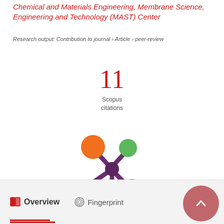Chemical and Materials Engineering, Membrane Science, Engineering and Technology (MAST) Center
Research output: Contribution to journal › Article › peer-review
11 Scopus citations
[Figure (logo): Altmetric donut-style logo with colored circles in orange, green, and purple connected by lines on a dark purple asterisk shape]
Overview   Fingerprint